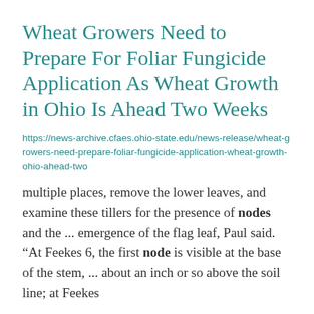Wheat Growers Need to Prepare For Foliar Fungicide Application As Wheat Growth in Ohio Is Ahead Two Weeks
https://news-archive.cfaes.ohio-state.edu/news-release/wheat-growers-need-prepare-foliar-fungicide-application-wheat-growth-ohio-ahead-two
multiple places, remove the lower leaves, and examine these tillers for the presence of nodes and the ... emergence of the flag leaf, Paul said. “At Feekes 6, the first node is visible at the base of the stem, ... about an inch or so above the soil line; at Feekes